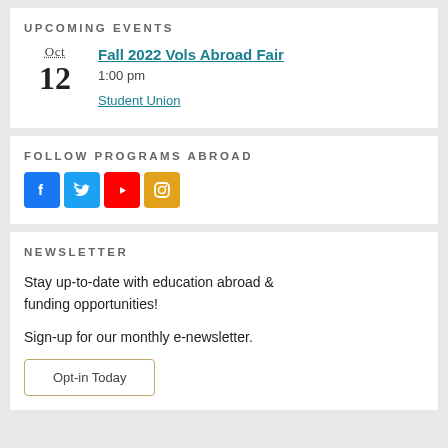UPCOMING EVENTS
Oct
12
Fall 2022 Vols Abroad Fair
1:00 pm
Student Union
FOLLOW PROGRAMS ABROAD
[Figure (infographic): Social media icons: Facebook, Twitter, YouTube, Instagram]
NEWSLETTER
Stay up-to-date with education abroad & funding opportunities!
Sign-up for our monthly e-newsletter.
Opt-in Today